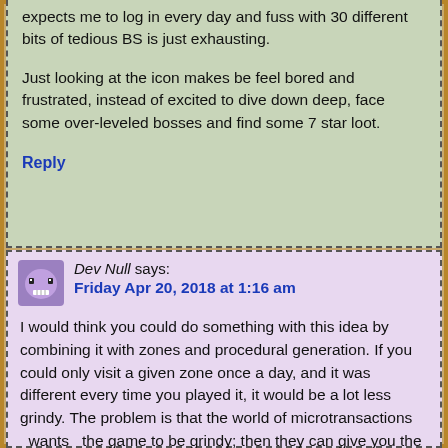expects me to log in every day and fuss with 30 different bits of tedious BS is just exhausting.

Just looking at the icon makes be feel bored and frustrated, instead of excited to dive down deep, face some over-leveled bosses and find some 7 star loot.
Reply
Dev Null says: Friday Apr 20, 2018 at 1:16 am
I would think you could do something with this idea by combining it with zones and procedural generation. If you could only visit a given zone once a day, and it was different every time you played it, it would be a lot less grindy. The problem is that the world of microtransactions _wants_ the game to be grindy; then they can give you the option to pay to skip the grind. If it was fun to play, they wouldn't get this?